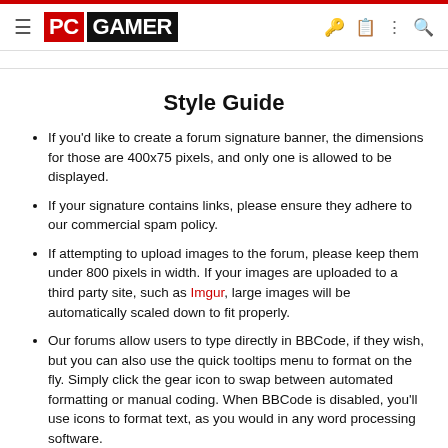PC GAMER — navigation bar with logo, hamburger menu, and icons
Style Guide
If you'd like to create a forum signature banner, the dimensions for those are 400x75 pixels, and only one is allowed to be displayed.
If your signature contains links, please ensure they adhere to our commercial spam policy.
If attempting to upload images to the forum, please keep them under 800 pixels in width. If your images are uploaded to a third party site, such as Imgur, large images will be automatically scaled down to fit properly.
Our forums allow users to type directly in BBCode, if they wish, but you can also use the quick tooltips menu to format on the fly. Simply click the gear icon to swap between automated formatting or manual coding. When BBCode is disabled, you'll use icons to format text, as you would in any word processing software.